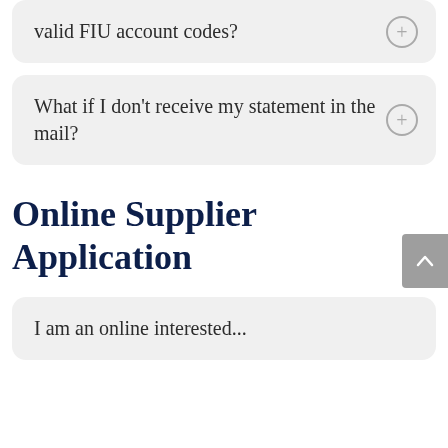valid FIU account codes?
What if I don't receive my statement in the mail?
Online Supplier Application
I am an online interested...